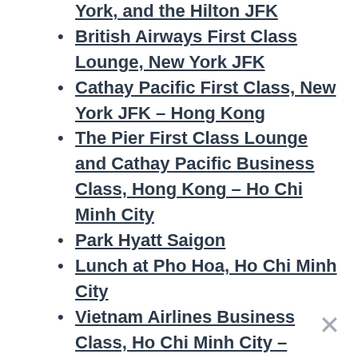York, and the Hilton JFK
British Airways First Class Lounge, New York JFK
Cathay Pacific First Class, New York JFK – Hong Kong
The Pier First Class Lounge and Cathay Pacific Business Class, Hong Kong – Ho Chi Minh City
Park Hyatt Saigon
Lunch at Pho Hoa, Ho Chi Minh City
Vietnam Airlines Business Class, Ho Chi Minh City – Danang
Hyatt Regency Danang Resort & Spa
Vietnam Airlines Economy, Danang – Siem Reap
Park Hyatt Siem Reap
Angkor Wat and Other Temples
Dragonair Business Class, Siem Reap – Hong Kong